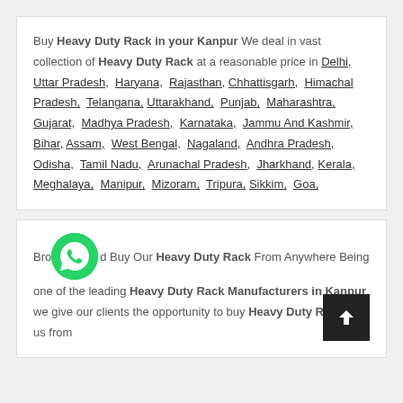Buy Heavy Duty Rack in your Kanpur We deal in vast collection of Heavy Duty Rack at a reasonable price in Delhi, Uttar Pradesh, Haryana, Rajasthan, Chhattisgarh, Himachal Pradesh, Telangana, Uttarakhand, Punjab, Maharashtra, Gujarat, Madhya Pradesh, Karnataka, Jammu And Kashmir, Bihar, Assam, West Bengal, Nagaland, Andhra Pradesh, Odisha, Tamil Nadu, Arunachal Pradesh, Jharkhand, Kerala, Meghalaya, Manipur, Mizoram, Tripura, Sikkim, Goa,
Browse and Buy Our Heavy Duty Rack From Anywhere Being one of the leading Heavy Duty Rack Manufacturers in Kanpur, we give our clients the opportunity to buy Heavy Duty Rack with us from